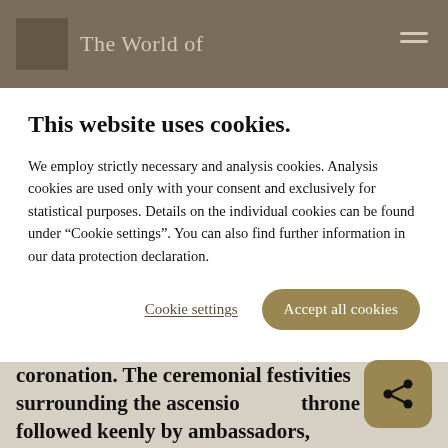The World of
This website uses cookies.
We employ strictly necessary and analysis cookies. Analysis cookies are used only with your consent and exclusively for statistical purposes. Details on the individual cookies can be found under “Cookie settings”. You can also find further information in our data protection declaration.
Cookie settings  Accept all cookies
The beginning of the reign of a new king or queen is traditionally marked with a coronation. The ceremonial festivities surrounding the ascension of the throne were followed keenly by ambassadors, commentators, the court household and the common